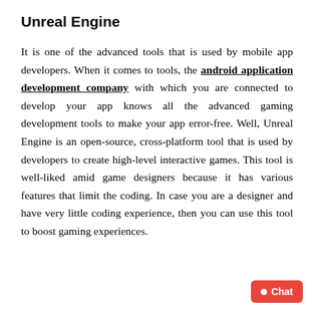Unreal Engine
It is one of the advanced tools that is used by mobile app developers. When it comes to tools, the android application development company with which you are connected to develop your app knows all the advanced gaming development tools to make your app error-free. Well, Unreal Engine is an open-source, cross-platform tool that is used by developers to create high-level interactive games. This tool is well-liked amid game designers because it has various features that limit the coding. In case you are a designer and have very little coding experience, then you can use this tool to boost gaming experiences.